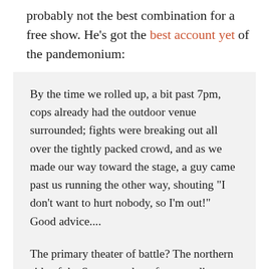probably not the best combination for a free show. He's got the best account yet of the pandemonium:
By the time we rolled up, a bit past 7pm, cops already had the outdoor venue surrounded; fights were breaking out all over the tightly packed crowd, and as we made our way toward the stage, a guy came past us running the other way, shouting "I don't want to hurt nobody, so I'm out!" Good advice....
The primary theater of battle? The northern side of the Seaport, where fans standing on the balcony in front of shops and restaurants began raining bottles down on the crowd below, who promptly returned fire. As things escalated, the bottles turned from